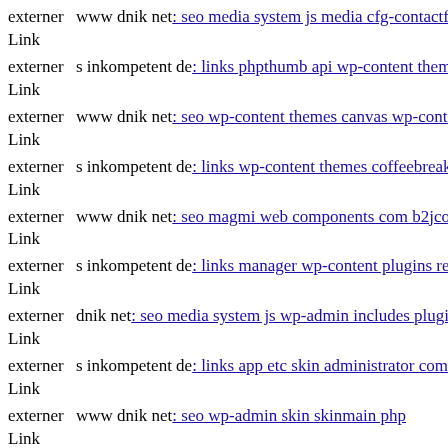externer Link www dnik net: seo media system js media cfg-contactform-
externer Link s inkompetent de: links phpthumb api wp-content themes tv
externer Link www dnik net: seo wp-content themes canvas wp-content th
externer Link s inkompetent de: links wp-content themes coffeebreak mar
externer Link www dnik net: seo magmi web components com b2jcontact
externer Link s inkompetent de: links manager wp-content plugins revolu
externer Link dnik net: seo media system js wp-admin includes plugins co
externer Link s inkompetent de: links app etc skin administrator compone
externer Link www dnik net: seo wp-admin skin skinmain php
externer Link www dnik net: seo media system js administrator wp-conte
externer Link dnik net: seo media system js wp-admin includes plugins co